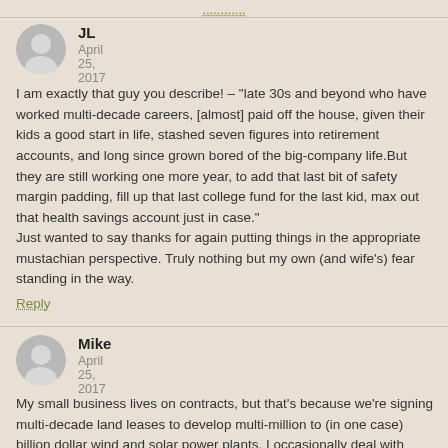............
JL
April 25, 2017
I am exactly that guy you describe! – "late 30s and beyond who have worked multi-decade careers, [almost] paid off the house, given their kids a good start in life, stashed seven figures into retirement accounts, and long since grown bored of the big-company life.But they are still working one more year, to add that last bit of safety margin padding, fill up that last college fund for the last kid, max out that health savings account just in case."
Just wanted to say thanks for again putting things in the appropriate mustachian perspective. Truly nothing but my own (and wife's) fear standing in the way.
Reply
Mike
April 25, 2017
My small business lives on contracts, but that's because we're signing multi-decade land leases to develop multi-million to (in one case) billion dollar wind and solar power plants. I occasionally deal with contracts between myself